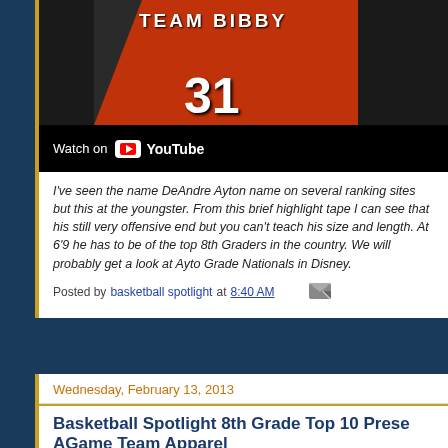[Figure (screenshot): YouTube video embed showing basketball player wearing Team Bibby jersey number 31, with Watch on YouTube overlay bar]
I've seen the name DeAndre Ayton name on several ranking sites but this at the youngster. From this brief highlight tape I can see that his still very offensive end but you can't teach his size and length. At 6'9 he has to be of the top 8th Graders in the country. We will probably get a look at Ayto Grade Nationals in Disney.
Posted by basketball spotlight at 8:40 AM
Wednesday, February 13, 2013
Basketball Spotlight 8th Grade Top 10 Prese AGame Team Apparel
[Figure (screenshot): Video thumbnail area at bottom, dark background]